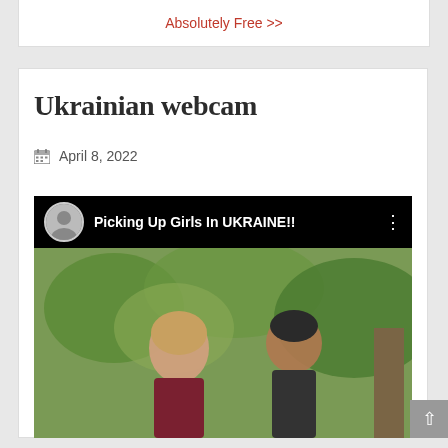Absolutely Free >>
Ukrainian webcam
April 8, 2022
[Figure (screenshot): YouTube video embed showing 'Picking Up Girls In UKRAINE!!' with a young man and woman outdoors with foliage in background, play button visible in center]